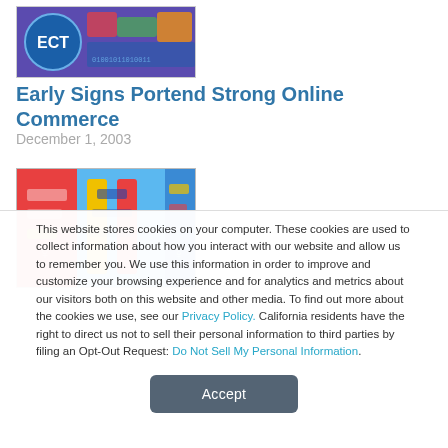[Figure (logo): ECT logo image with colorful background showing a child and digital elements, with 'ECT' text in blue circle]
Early Signs Portend Strong Online Commerce
December 1, 2003
[Figure (photo): Colorful interlaced ribbons or fabric strips in red, yellow, blue colors, split into panels]
This website stores cookies on your computer. These cookies are used to collect information about how you interact with our website and allow us to remember you. We use this information in order to improve and customize your browsing experience and for analytics and metrics about our visitors both on this website and other media. To find out more about the cookies we use, see our Privacy Policy. California residents have the right to direct us not to sell their personal information to third parties by filing an Opt-Out Request: Do Not Sell My Personal Info.